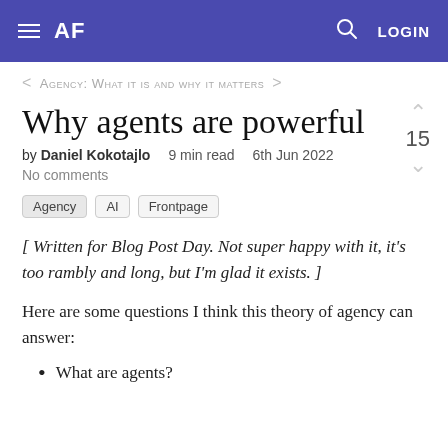AF   LOGIN
< Agency: What it is and why it matters >
Why agents are powerful
by Daniel Kokotajlo   9 min read   6th Jun 2022
No comments
15
Agency   AI   Frontpage
[ Written for Blog Post Day. Not super happy with it, it's too rambly and long, but I'm glad it exists. ]
Here are some questions I think this theory of agency can answer:
What are agents?